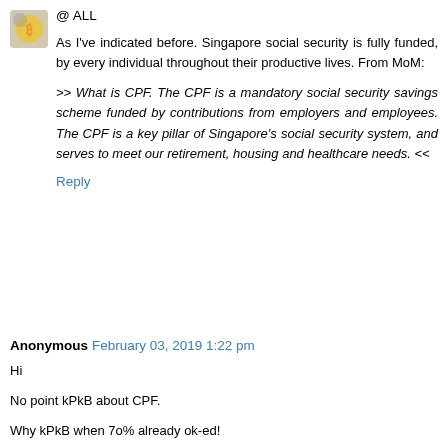[Figure (illustration): Small avatar/icon image of a cartoon character with a bitcoin symbol]
@ ALL
As I've indicated before. Singapore social security is fully funded, by every individual throughout their productive lives. From MoM:
>> What is CPF. The CPF is a mandatory social security savings scheme funded by contributions from employers and employees. The CPF is a key pillar of Singapore's social security system, and serves to meet our retirement, housing and healthcare needs. <<
Reply
Anonymous February 03, 2019 1:22 pm
Hi
No point kPkB about CPF.
Why kPkB when 7o% already ok-ed!